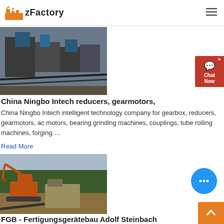zFactory
[Figure (photo): Industrial machinery/crusher equipment photo]
China Ningbo Intech reducers, gearmotors,
China Ningbo Intech intelligent technology company for gearbox, reducers, gearmotors, ac motors, bearing grinding machines, couplings, tube rolling machines, forging ...
Read More
[Figure (photo): Excavator and quarry/crushing equipment at outdoor site]
FGB - Fertigungsgerätebau Adolf Steinbach
The system that is shown here is a fully automated grinding machine for machining the inner rings of tapered roller bearings. It was integrated into